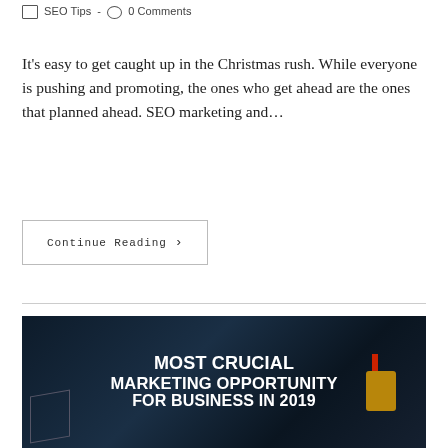SEO Tips  -  0 Comments
It's easy to get caught up in the Christmas rush. While everyone is pushing and promoting, the ones who get ahead are the ones that planned ahead. SEO marketing and…
Continue Reading ›
[Figure (illustration): Dark blue industrial background image with bold white uppercase text reading 'MOST CRUCIAL MARKETING OPPORTUNITY FOR BUSINESS IN 2019'. Industrial pipe and valve visible on right side, grid structure on lower left.]